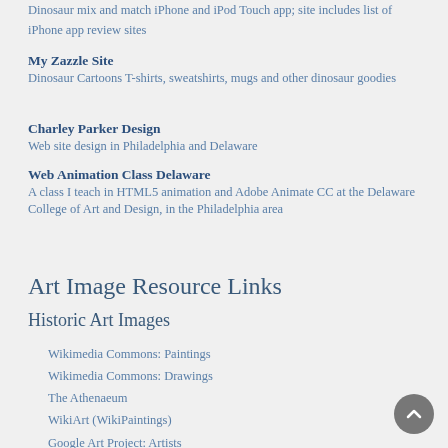Dinosaur mix and match iPhone and iPod Touch app; site includes list of iPhone app review sites
My Zazzle Site
Dinosaur Cartoons T-shirts, sweatshirts, mugs and other dinosaur goodies
Charley Parker Design
Web site design in Philadelphia and Delaware
Web Animation Class Delaware
A class I teach in HTML5 animation and Adobe Animate CC at the Delaware College of Art and Design, in the Philadelphia area
Art Image Resource Links
Historic Art Images
Wikimedia Commons: Paintings
Wikimedia Commons: Drawings
The Athenaeum
WikiArt (WikiPaintings)
Google Art Project: Artists
Google Art Project: Collections (Museums)